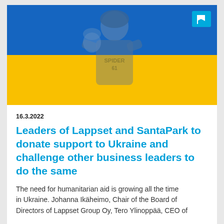[Figure (photo): Hero image showing a child in a Spider-Man shirt overlaid with the Ukrainian flag colors (blue top half, yellow bottom half). A cyan flag icon appears in the top-right corner.]
16.3.2022
Leaders of Lappset and SantaPark to donate support to Ukraine and challenge other business leaders to do the same
The need for humanitarian aid is growing all the time in Ukraine. Johanna Ikäheimo, Chair of the Board of Directors of Lappset Group Oy, Tero Ylioppää, CEO of